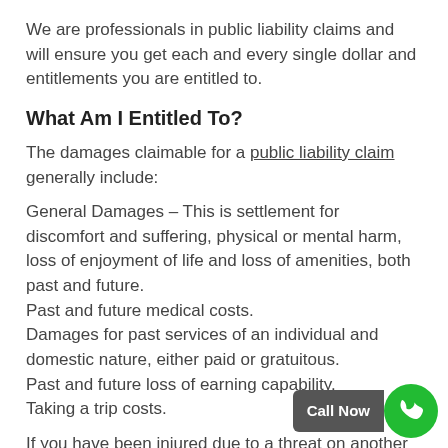We are professionals in public liability claims and will ensure you get each and every single dollar and entitlements you are entitled to.
What Am I Entitled To?
The damages claimable for a public liability claim generally include:
General Damages – This is settlement for discomfort and suffering, physical or mental harm, loss of enjoyment of life and loss of amenities, both past and future.
Past and future medical costs.
Damages for past services of an individual and domestic nature, either paid or gratuitous.
Past and future loss of earning capability.
Taking a trip costs.
If you have been injured due to a threat on another person's residential or commercial property, the another person's breach of duty of care, you ought to